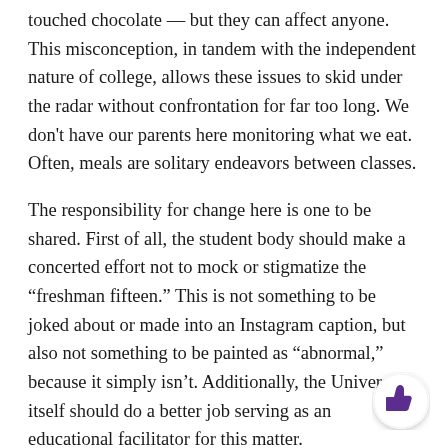touched chocolate — but they can affect anyone. This misconception, in tandem with the independent nature of college, allows these issues to skid under the radar without confrontation for far too long. We don't have our parents here monitoring what we eat. Often, meals are solitary endeavors between classes.
The responsibility for change here is one to be shared. First of all, the student body should make a concerted effort not to mock or stigmatize the “freshman fifteen.” This is not something to be joked about or made into an Instagram caption, but also not something to be painted as “abnormal,” because it simply isn’t. Additionally, the University itself should do a better job serving as an educational facilitator for this matter.
While none of us want to add yet another True Northwestern Dialogue to an already long and busy Wildcat Welcome, should spend some time during this week emphasizing th…
[Figure (illustration): Thumbs up icon in a circular white badge with shadow, purple/dark colored thumb]